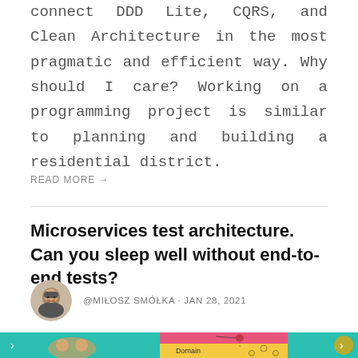connect DDD Lite, CQRS, and Clean Architecture in the most pragmatic and efficient way. Why should I care? Working on a programming project is similar to planning and building a residential district.
READ MORE →
Microservices test architecture. Can you sleep well without end-to-end tests?
@MIŁOSZ SMÓŁKA · JAN 28, 2021
[Figure (illustration): Article thumbnail image showing a cartoon gopher mascot alongside a colorful diagram with teal, pink, and yellow sections and a 'Domain' label with connected nodes]